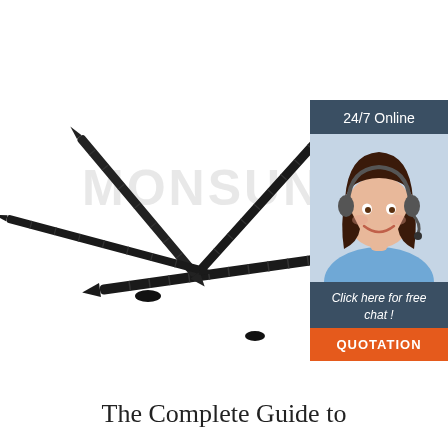[Figure (photo): Multiple black drywall screws arranged in a starburst/fan pattern against a white background, with MONSUN watermark text overlaid]
[Figure (infographic): Chat widget sidebar showing '24/7 Online' header, photo of smiling woman with headset, 'Click here for free chat!' text, and orange QUOTATION button]
The Complete Guide to